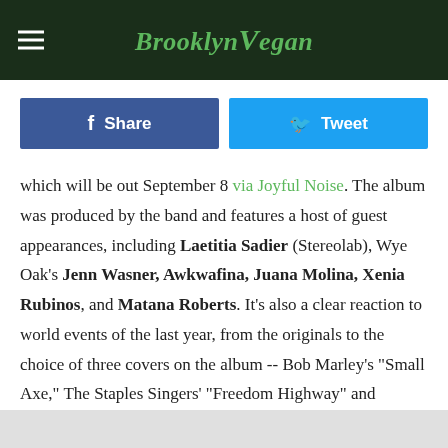BrooklynVegan
Share
Tweet
which will be out September 8 via Joyful Noise. The album was produced by the band and features a host of guest appearances, including Laetitia Sadier (Stereolab), Wye Oak's Jenn Wasner, Awkwafina, Juana Molina, Xenia Rubinos, and Matana Roberts. It's also a clear reaction to world events of the last year, from the originals to the choice of three covers on the album -- Bob Marley's "Small Axe," The Staples Singers' "Freedom Highway" and Violeta Parra's "Gracias a la Vida." The first single from the album is "I Will Spite Survive" which features Jenn Wasner and which you